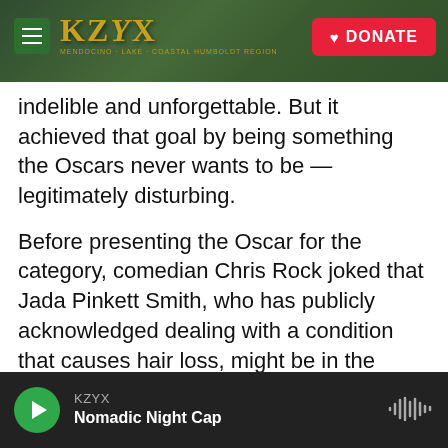KZYX | DONATE
indelible and unforgettable. But it achieved that goal by being something the Oscars never wants to be — legitimately disturbing.
Before presenting the Oscar for the category, comedian Chris Rock joked that Jada Pinkett Smith, who has publicly acknowledged dealing with a condition that causes hair loss, might be in the running for "G.I. Jane 2," a howlingly dated reference to the 1997 film starring Demi Moore, about a woman who undergoes special operations military training. (Moore's character shaves her head in the film.)
KZYX Nomadic Night Cap